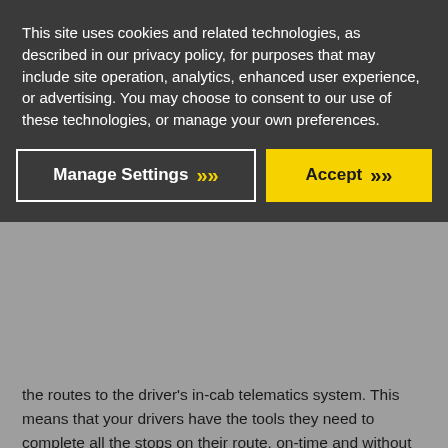This site uses cookies and related technologies, as described in our privacy policy, for purposes that may include site operation, analytics, enhanced user experience, or advertising. You may choose to consent to our use of these technologies, or manage your own preferences.
Manage Settings >>
Accept >>
the routes to the driver's in-cab telematics system. This means that your drivers have the tools they need to complete all the stops on their route, on-time and without speeding.
Tracking Driver Behavior.
Using routing and scheduling software to monitor driver behavior while they are on the highway might seem like an invasion of privacy. But, if you have a driver practicing unsafe behaviors behind the wheel, it affects more than just that driver's safety—it affects everyone on the road. If that driver is found at fault for an accident, it not only erodes your brand's reputation, but it also directly impacts your insurance rates. You'd like to believe that your drivers are sticking to their routes